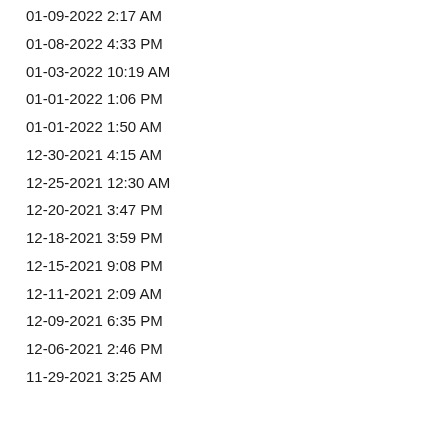01-09-2022 2:17 AM
01-08-2022 4:33 PM
01-03-2022 10:19 AM
01-01-2022 1:06 PM
01-01-2022 1:50 AM
12-30-2021 4:15 AM
12-25-2021 12:30 AM
12-20-2021 3:47 PM
12-18-2021 3:59 PM
12-15-2021 9:08 PM
12-11-2021 2:09 AM
12-09-2021 6:35 PM
12-06-2021 2:46 PM
11-29-2021 3:25 AM